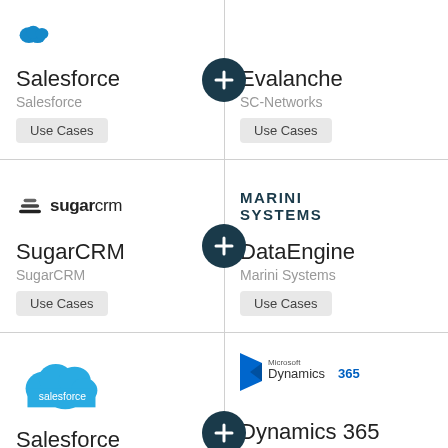[Figure (logo): Salesforce logo (partial, blue cloud icon at top)]
Salesforce
Salesforce
Use Cases
[Figure (logo): Plus connector button (dark teal circle with white plus sign)]
Evalanche
SC-Networks
Use Cases
[Figure (logo): SugarCRM logo with stacked layers icon and sugarcrm wordmark]
SugarCRM
SugarCRM
Use Cases
[Figure (logo): Marini Systems logo - bold uppercase text MARINI SYSTEMS in dark navy]
[Figure (other): Plus connector button (dark teal circle with white plus sign)]
DataEngine
Marini Systems
Use Cases
[Figure (logo): Salesforce cloud logo - cyan blue cloud shape with salesforce text]
Salesforce
Salesforce
[Figure (logo): Microsoft Dynamics 365 logo - arrow icon with Microsoft Dynamics 365 text]
[Figure (other): Plus connector button (dark teal circle with white plus sign)]
Dynamics 365
Microsoft